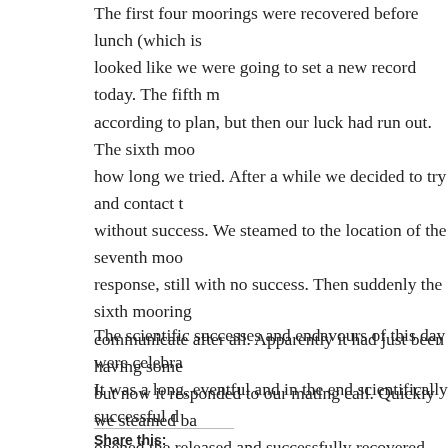The first four moorings were recovered before lunch (which is looked like we were going to set a new record today. The fifth m according to plan, but then our luck had run out. The sixth moo how long we tried. After a while we decided to try and contact t without success. We steamed to the location of the seventh moo response, still with no success. Then suddenly the sixth mooring communicate after all. Apparently it had just been having some but now it responded to our mating call. Quickly we steamed ba opened the released and successfully recovered the mooring. W last mooring, but unfortunately it was all in vain. We will proba we may need to accept that the mooring is just not there anymo
The scientific successes and endavours of this day were celebra It was a long, eventful and in the end scientifically successful d
Share this:
Tweet